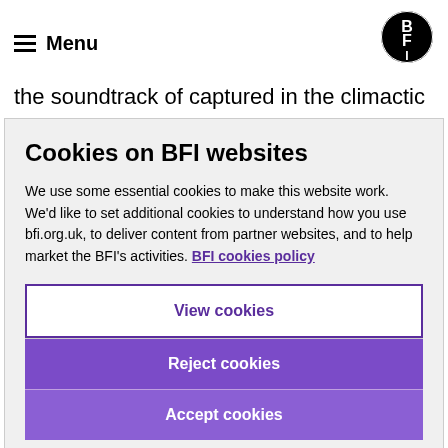Menu
the soundtrack of captured in the climactic concert sequence. The result was the most accomplished of all pop musicals, and one that remains as fresh
Cookies on BFI websites
We use some essential cookies to make this website work. We'd like to set additional cookies to understand how you use bfi.org.uk, to deliver content from partner websites, and to help market the BFI's activities. BFI cookies policy
View cookies
Reject cookies
Accept cookies